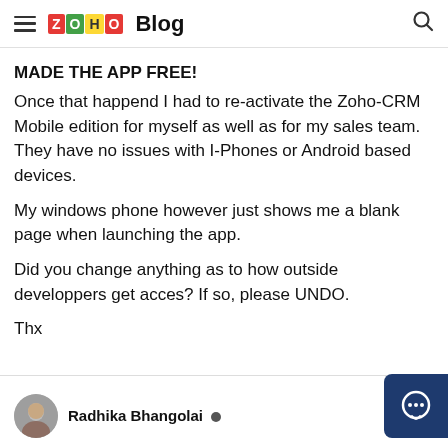ZOHO Blog
MADE THE APP FREE!
Once that happend I had to re-activate the Zoho-CRM Mobile edition for myself as well as for my sales team. They have no issues with I-Phones or Android based devices.
My windows phone however just shows me a blank page when launching the app.
Did you change anything as to how outside developpers get acces? If so, please UNDO.
Thx
Radhika Bhangolai